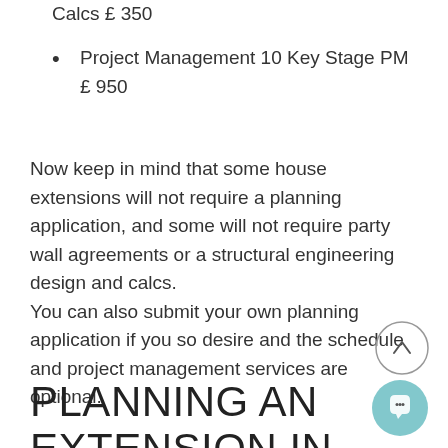Calcs £ 350
Project Management 10 Key Stage PM £ 950
Now keep in mind that some house extensions will not require a planning application, and some will not require party wall agreements or a structural engineering design and calcs. You can also submit your own planning application if you so desire and the schedule and project management services are optional.
PLANNING AN EXTENSION IN THJE NEAR FUTURE?